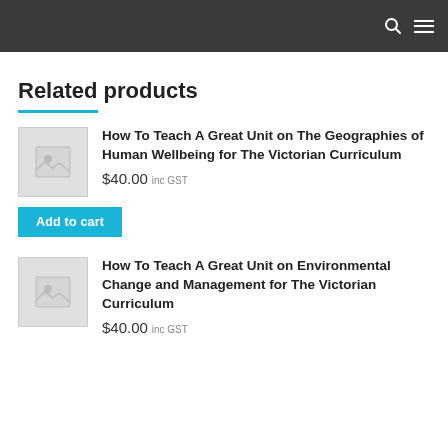Navigation bar with search and menu icons
Related products
How To Teach A Great Unit on The Geographies of Human Wellbeing for The Victorian Curriculum
$40.00 inc GST
Add to cart
How To Teach A Great Unit on Environmental Change and Management for The Victorian Curriculum
$40.00 inc GST